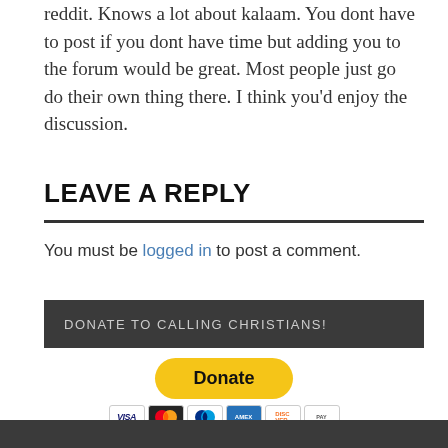reddit. Knows a lot about kalaam. You dont have to post if you dont have time but adding you to the forum would be great. Most people just go do their own thing there. I think you’d enjoy the discussion.
LEAVE A REPLY
You must be logged in to post a comment.
DONATE TO CALLING CHRISTIANS!
[Figure (other): PayPal Donate button with payment card logos (Visa, Mastercard, PayPal, Amex, Discover, and another card)]